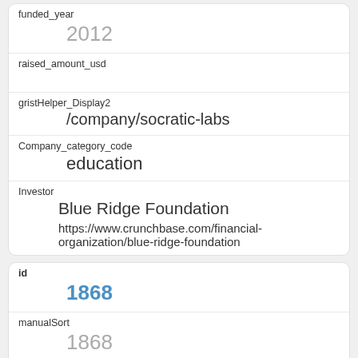| field | value |
| --- | --- |
| funded_year | 2012 |
| raised_amount_usd |  |
| gristHelper_Display2 | /company/socratic-labs |
| Company_category_code | education |
| Investor | Blue Ridge Foundation
https://www.crunchbase.com/financial-organization/blue-ridge-foundation |
| field | value |
| --- | --- |
| id | 1868 |
| manualSort | 1868 |
| Company | 799 |
| investor_permalink |  |